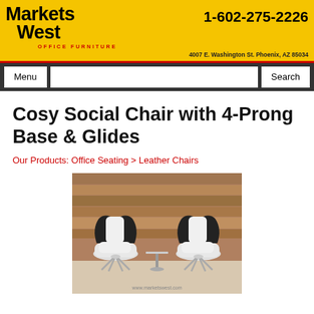Markets West Office Furniture | 1-602-275-2226 | 4007 E. Washington St. Phoenix, AZ 85034
Cosy Social Chair with 4-Prong Base & Glides
Our Products: Office Seating > Leather Chairs
[Figure (photo): Two modern black and white swivel lounge chairs with 4-prong metal bases, arranged around a small round pedestal table, set against a rustic wood plank wall background. Watermark reads www.marketswest.com]